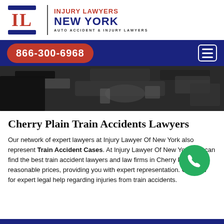[Figure (logo): Injury Lawyers New York logo with IL monogram and text: INJURY LAWYERS NEW YORK, AUTO ACCIDENT & INJURY LAWYERS]
866-300-6968
[Figure (photo): Dark image of someone working under a vehicle / car accident scene]
Cherry Plain Train Accidents Lawyers
Our network of expert lawyers at Injury Lawyer Of New York also represent Train Accident Cases. At Injury Lawyer Of New York you can find the best train accident lawyers and law firms in Cherry Plain, at reasonable prices, providing you with expert representation. Call now for expert legal help regarding injuries from train accidents.